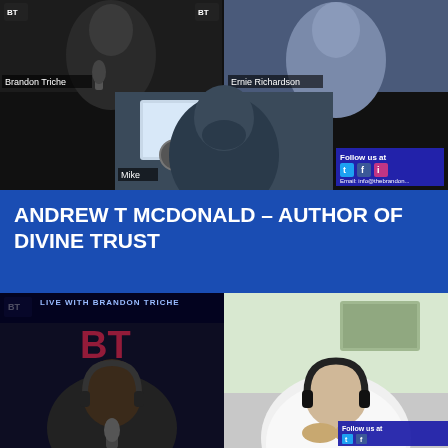[Figure (screenshot): Video call screenshot showing three participants: Brandon Triche (top left), Ernie Richardson (top right), and Mike (center bottom). A 'Follow us at' social media box with Twitter, Facebook, and Instagram icons is visible bottom right, with email info@thebrandontriche show.com]
ANDREW T MCDONALD – AUTHOR OF DIVINE TRUST
[Figure (screenshot): Two-panel image: left panel shows a dark broadcast screen with 'LIVE WITH BRANDON TRICHE' banner and a host with headphones and microphone; right panel shows a man with headphones in a white shirt sitting thoughtfully. 'Follow us at' social media box visible bottom right.]